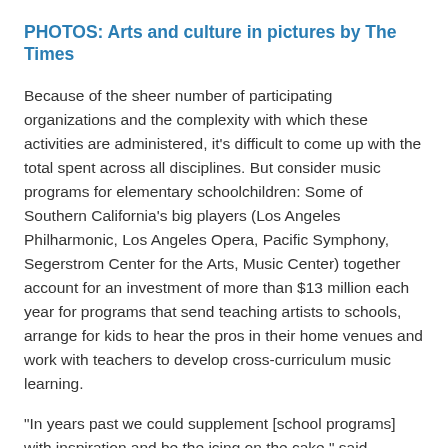PHOTOS: Arts and culture in pictures by The Times
Because of the sheer number of participating organizations and the complexity with which these activities are administered, it's difficult to come up with the total spent across all disciplines. But consider music programs for elementary schoolchildren: Some of Southern California's big players (Los Angeles Philharmonic, Los Angeles Opera, Pacific Symphony, Segerstrom Center for the Arts, Music Center) together account for an investment of more than $13 million each year for programs that send teaching artists to schools, arrange for kids to hear the pros in their home venues and work with teachers to develop cross-curriculum music learning.
"In years past we could supplement [school programs] with inspiration and be the icing on the cake," said Pamela Blaine, the vice president of education and community engagement with the Pacific Symphony, who has been involved with education programs for 25 years.
"These days education programs ... are also critical to our